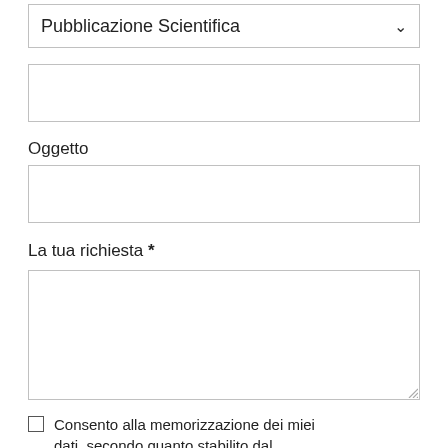[Figure (screenshot): Dropdown selector showing 'Pubblicazione Scientifica' with a chevron arrow on the right]
[Figure (screenshot): Empty text input box]
Oggetto
[Figure (screenshot): Empty text input box for Oggetto]
La tua richiesta *
[Figure (screenshot): Large empty textarea for user request with resize handle]
Consento alla memorizzazione dei miei dati, secondo quanto stabilito dal regolamento europe... dei dati personali n. 679/...
Rivedi consenso